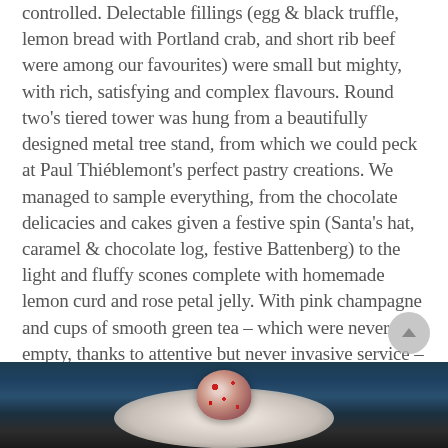controlled. Delectable fillings (egg & black truffle, lemon bread with Portland crab, and short rib beef were among our favourites) were small but mighty, with rich, satisfying and complex flavours. Round two's tiered tower was hung from a beautifully designed metal tree stand, from which we could peck at Paul Thiéblemont's perfect pastry creations. We managed to sample everything, from the chocolate delicacies and cakes given a festive spin (Santa's hat, caramel & chocolate log, festive Battenberg) to the light and fluffy scones complete with homemade lemon curd and rose petal jelly. With pink champagne and cups of smooth green tea – which were never empty, thanks to attentive but never invasive service – this was an afternoon to remember.
[Figure (photo): Dark atmospheric photo of a dessert or food item on a white plate, with a dark teal/navy background. A round red-speckled food item (possibly a cake or truffle) is visible on the plate.]